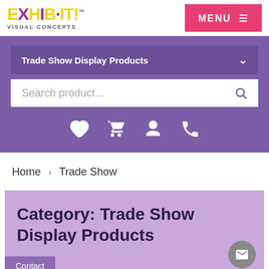[Figure (logo): EXHIB-IT! Visual Concepts logo with colorful letters]
MENU ≡
Trade Show Display Products
Search product...
[Figure (infographic): Icon row: heart, shopping cart, user, phone]
Home › Trade Show
Category: Trade Show Display Products
Contact